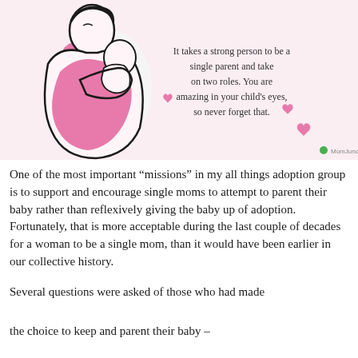[Figure (illustration): Illustration of a mother holding a baby, drawn in black outline with pink fill. Text reads: 'It takes a strong person to be a single parent and take on two roles. You are amazing in your child's eyes, so never forget that.' Pink hearts decorate the bottom. MomJunction watermark at bottom right.]
One of the most important “missions” in my all things adoption group is to support and encourage single moms to attempt to parent their baby rather than reflexively giving the baby up of adoption. Fortunately, that is more acceptable during the last couple of decades for a woman to be a single mom, than it would have been earlier in our collective history.
Several questions were asked of those who had made the choice to keep and parent their baby –